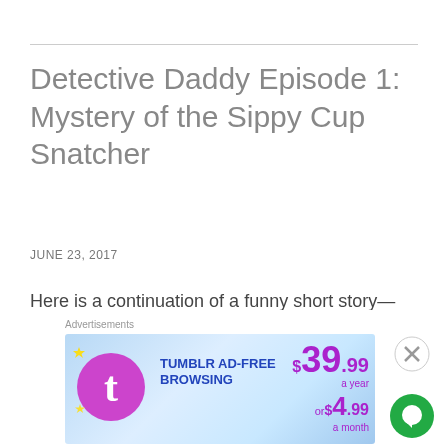Detective Daddy Episode 1: Mystery of the Sippy Cup Snatcher
JUNE 23, 2017
Here is a continuation of a funny short story—based on characters I created from the antics of my oldest son in 2013.
Characters:
[Figure (screenshot): Tumblr Ad-Free Browsing advertisement banner showing $39.99 a year or $4.99 a month pricing, with Tumblr logo and close/chat buttons]